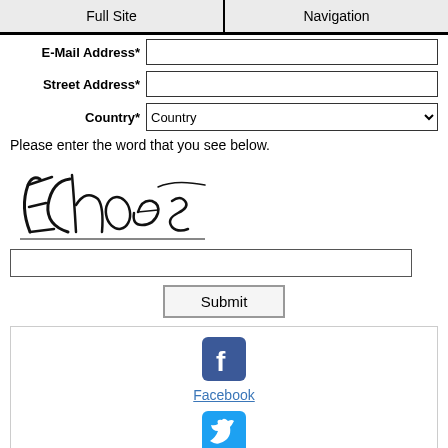Full Site | Navigation
E-Mail Address*
Street Address*
Country*
Please enter the word that you see below.
[Figure (other): CAPTCHA image showing handwritten word 'EChoes']
Submit
[Figure (logo): Facebook icon (blue square with white f)]
Facebook
[Figure (logo): Twitter icon (blue square with white bird)]
Twitter
Enjoy this page? Please pay it forward. Here's how...